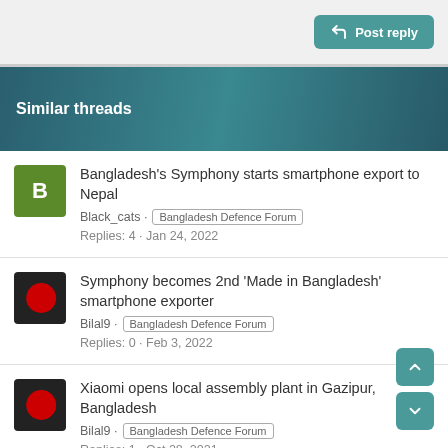Post reply
Similar threads
Bangladesh's Symphony starts smartphone export to Nepal
Black_cats · Bangladesh Defence Forum
Replies: 4 · Jan 24, 2022
Symphony becomes 2nd 'Made in Bangladesh' smartphone exporter
Bilal9 · Bangladesh Defence Forum
Replies: 0 · Feb 3, 2022
Xiaomi opens local assembly plant in Gazipur, Bangladesh
Bilal9 · Bangladesh Defence Forum
Replies: 1 · Oct 28, 2021